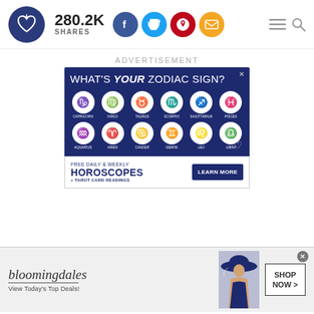280.2K SHARES
ADVERTISEMENT
[Figure (infographic): Zodiac sign advertisement showing all 12 zodiac symbols in white circles on a dark blue background with headline WHAT'S YOUR ZODIAC SIGN? and a Free Daily & Weekly Horoscopes + Tarot Card Readings section with LEARN MORE button]
[Figure (infographic): Bloomingdales advertisement showing logo, View Today's Top Deals text, woman in hat photo, and SHOP NOW button]